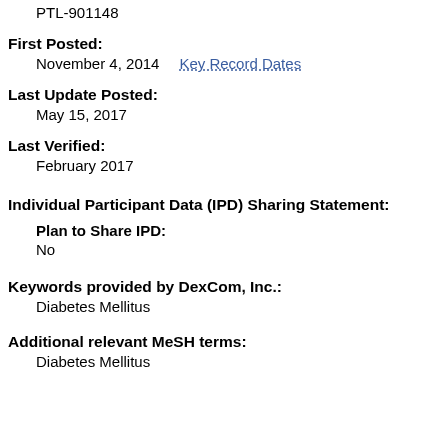PTL-901148
First Posted:
November 4, 2014   Key Record Dates
Last Update Posted:
May 15, 2017
Last Verified:
February 2017
Individual Participant Data (IPD) Sharing Statement:
Plan to Share IPD:
No
Keywords provided by DexCom, Inc.:
Diabetes Mellitus
Additional relevant MeSH terms:
Diabetes Mellitus